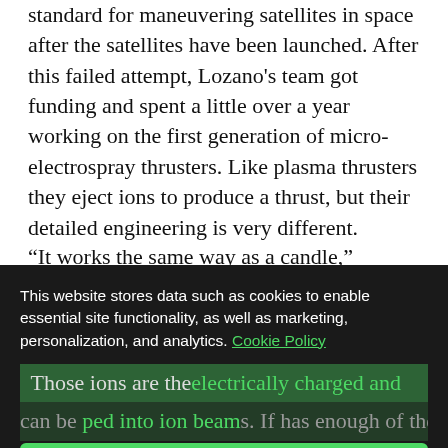standard for maneuvering satellites in space after the satellites have been launched. After this failed attempt, Lozano's team got funding and spent a little over a year working on the first generation of micro-electrospray thrusters. Like plasma thrusters they eject ions to produce a thrust, but their detailed engineering is very different.
“It works the same way as a candle,” Lozano said in his New Horizons talk, “except we are evaporating ions.”
Those ions are then electrically charged and can be focused into ion beams. If there’s enough of these beams, one has enough thrust for a cubesat. Power is